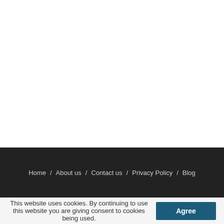Home / About us / Contact us / Privacy Policy / Blog
This website uses cookies. By continuing to use this website you are giving consent to cookies being used. Agree